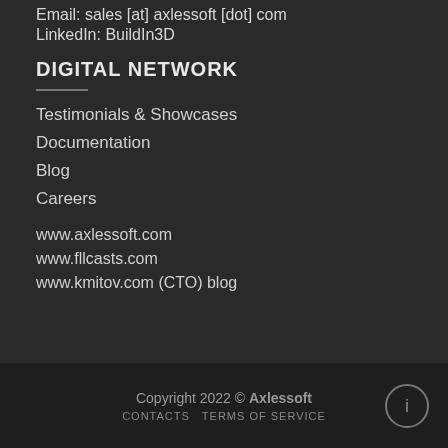Email: sales [at] axlessoft [dot] com
LinkedIn: BuildIn3D
DIGITAL NETWORK
Testimonials & Showcases
Documentation
Blog
Careers
www.axlessoft.com
www.fllcasts.com
www.kmitov.com (CTO) blog
Copyright 2022 © Axlessoft   CONTACTS   TERMS OF SERVICE